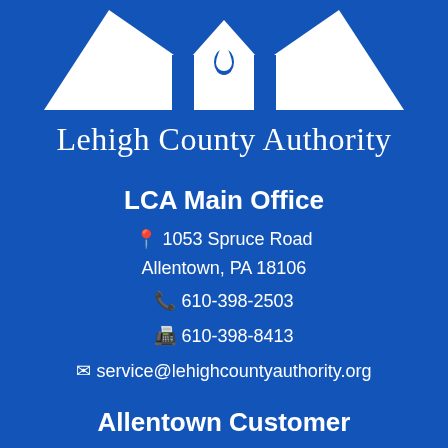[Figure (logo): Lehigh County Authority logo — white triangular roof/mountain shapes with a water droplet, on blue background]
Lehigh County Authority
LCA Main Office
📍 1053 Spruce Road
Allentown, PA 18106
📞 610-398-2503
🖨 610-398-8413
✉ service@lehighcountyauthority.org
Allentown Customer
📞 610-437-7515